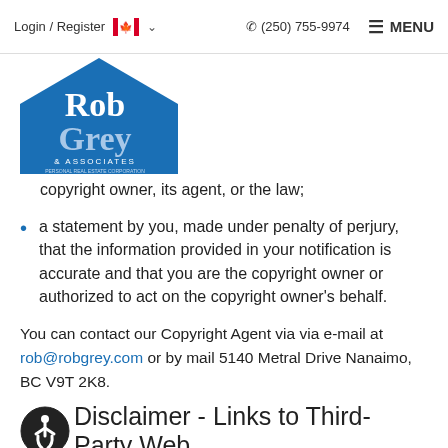Login / Register  🍁  ☎ (250) 755-9974  MENU
[Figure (logo): Rob Grey & Associates real estate logo on blue house-shaped background]
copyright owner, its agent, or the law;
a statement by you, made under penalty of perjury, that the information provided in your notification is accurate and that you are the copyright owner or authorized to act on the copyright owner's behalf.
You can contact our Copyright Agent via via e-mail at rob@robgrey.com or by mail 5140 Metral Drive Nanaimo, BC V9T 2K8.
Disclaimer - Links to Third-Party Web